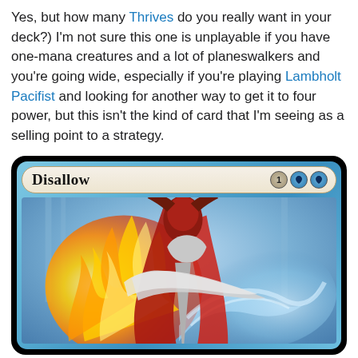Yes, but how many Thrives do you really want in your deck?) I'm not sure this one is unplayable if you have one-mana creatures and a lot of planeswalkers and you're going wide, especially if you're playing Lambholt Pacifist and looking for another way to get it to four power, but this isn't the kind of card that I'm seeing as a selling point to a strategy.
[Figure (illustration): Magic: The Gathering card named 'Disallow' with mana cost 1UU (one generic, two blue). The card shows a robed figure in red and silver armor wielding a weapon amidst flames and a blue magical swirl, on a blue-bordered card frame.]